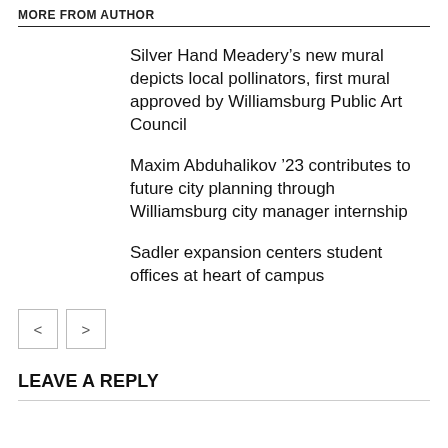MORE FROM AUTHOR
Silver Hand Meadery’s new mural depicts local pollinators, first mural approved by Williamsburg Public Art Council
Maxim Abduhalikov ’23 contributes to future city planning through Williamsburg city manager internship
Sadler expansion centers student offices at heart of campus
[Figure (other): Navigation previous and next buttons (< and >)]
LEAVE A REPLY